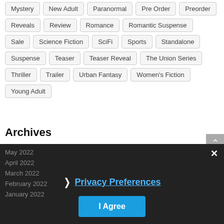Mystery
New Adult
Paranormal
Pre Order
Preorder
Reveals
Review
Romance
Romantic Suspense
Sale
Science Fiction
SciFi
Sports
Standalone
Suspense
Teaser
Teaser Reveal
The Union Series
Thriller
Trailer
Urban Fantasy
Women's Fiction
Young Adult
Archives
August 2022
July 2022
June 2022
May 2022
April 2022
March 2022
February 2022
January 2022
Privacy Preferences
I Agree